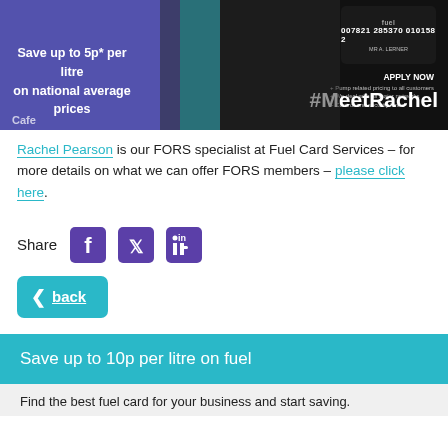[Figure (photo): Photo of Rachel Pearson standing in front of a purple/teal promotional display for Fuel Card Services. Banner reads 'Save up to 5p per litre on national average prices'. Dark fuel card shown top right with number '007821 285370 010158 2'. Large text overlay reads '#MeetRachel' and 'APPLY NOW'.]
Rachel Pearson is our FORS specialist at Fuel Card Services – for more details on what we can offer FORS members – please click here.
[Figure (infographic): Social share icons: Facebook, Twitter, LinkedIn with label 'Share']
[Figure (infographic): Back button with left arrow chevron and underlined text 'back' on teal rounded rectangle button]
Save up to 10p per litre on fuel
Find the best fuel card for your business and start saving.